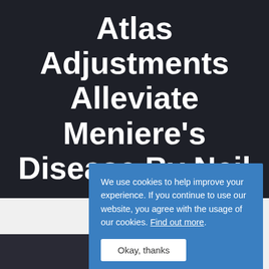Atlas Adjustments Alleviate Meniere's Disease By Neil Bau
We use cookies to help improve your experience. If you continue to use our website, you agree with the usage of our cookies. Find out more.
Okay, thanks